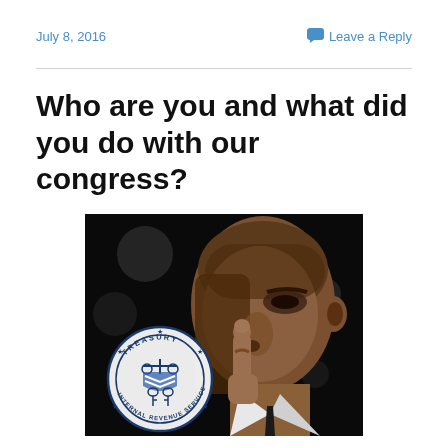July 8, 2016   Leave a Reply
Who are you and what did you do with our congress?
[Figure (photo): A dramatic close-up photo of Barack Obama holding his finger to his lips in a shushing gesture, with a dark background with bokeh lights and the IRS (Internal Revenue Service, Treasury) seal overlaid in the lower left.]